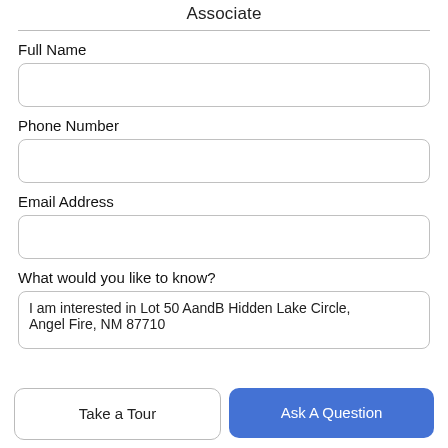Associate
Full Name
Phone Number
Email Address
What would you like to know?
I am interested in Lot 50 AandB Hidden Lake Circle, Angel Fire, NM 87710
Take a Tour
Ask A Question